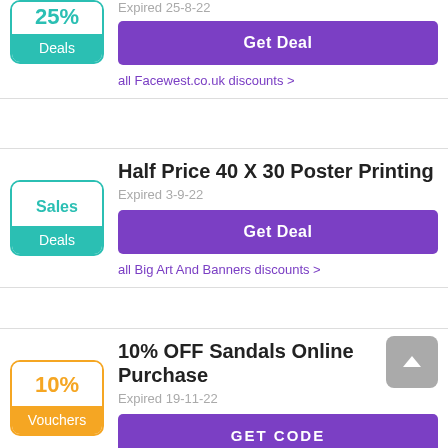25%
Deals
Expired 25-8-22
Get Deal
all Facewest.co.uk discounts >
Half Price 40 X 30 Poster Printing
Sales
Deals
Expired 3-9-22
Get Deal
all Big Art And Banners discounts >
10% OFF Sandals Online Purchase
10%
Vouchers
Expired 19-11-22
GET CODE